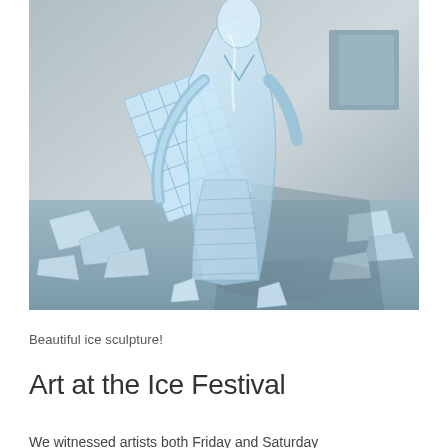[Figure (photo): A clear ice sculpture of a human figure, possibly in traditional dress, surrounded by chunks and shards of ice on a snowy/icy surface. The sculpture is translucent and detailed, with a grid-patterned element (like a coat or fan) visible on the left side. Natural daylight setting.]
Beautiful ice sculpture!
Art at the Ice Festival
We witnessed artists both Friday and Saturday